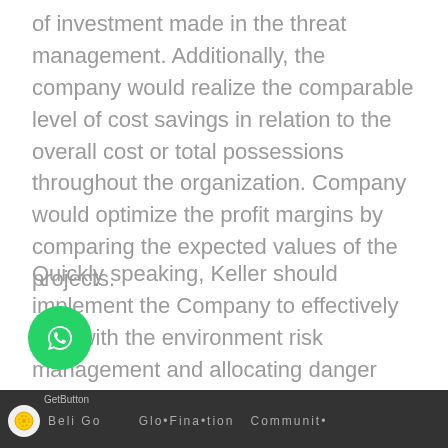of investment made in the threat management. Additionally, the company would realize the comparable level of cost savings in relation to the overall cost or total possessions throughout the organization. Company would optimize the profit margins by comparing the expected values of the projects.
Quickly speaking, Keller should implement the Company to effectively deal with the environment risk management and allocating danger management resources in efficient manner, hence increasing the efficiency of the risk management investment. It would boost the practicality and sustainability of the task.
[Figure (logo): WhatsApp chat button (green circle with phone/WhatsApp icon)]
GetButton footer bar with social media icons